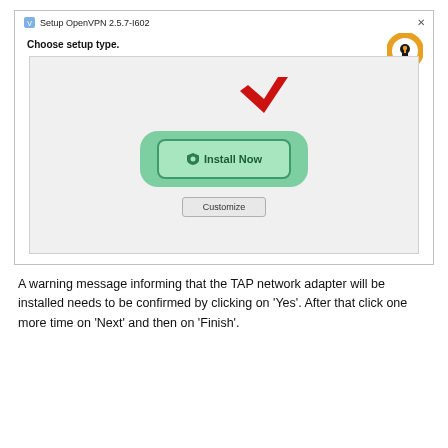[Figure (screenshot): OpenVPN 2.5.7-I602 setup wizard dialog showing 'Choose setup type.' with a large green 'Install Now' button highlighted by a red arrow pointing down at it, and a smaller 'Customize' button below. The OpenVPN lock logo appears in the top-right corner of the dialog.]
A warning message informing that the TAP network adapter will be installed needs to be confirmed by clicking on 'Yes'. After that click one more time on 'Next' and then on 'Finish'.